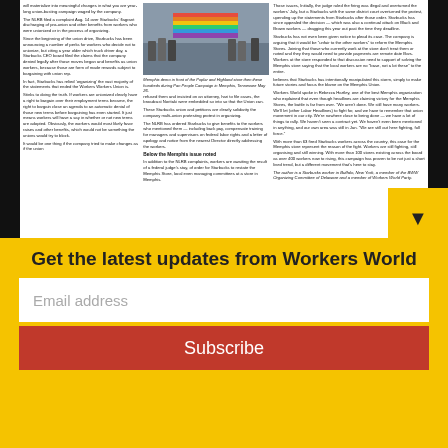[Figure (photo): Newspaper front page showing a protest photo with people holding signs, Workers World newspaper layout with articles about Starbucks union drive in Memphis]
[Figure (photo): Memphis demo in front of the Poplar and Highland store — Pan People Campaign in Memphis, Tennessee May 26]
BATTLE FOR ABORTION ACCESS
Michigan ballot initiative   3
Louisiana: Nancy Davis case   3
Buffalo solidarity with Palestine   3
WORKERS IN MOTION
Therapists protest dangerous delays   3
Kent, Washington, educators strike   6
UE Local 150: 25 years of struggle   6
[Figure (illustration): Tear Down the Walls prison tower illustration with barbed wire]
Yvonne Swan Wannow
Momentum builds against new jail
Albert Woodfox, a warrior   4
Franky Valgara ¡PRESENTE!   5
End methadone stigma, social control   7
Editorial  Make education free   8
Cuban Revolution celebrated in New York City and Portland, Oregon   6
Get the latest updates from Workers World
Email address
Subscribe